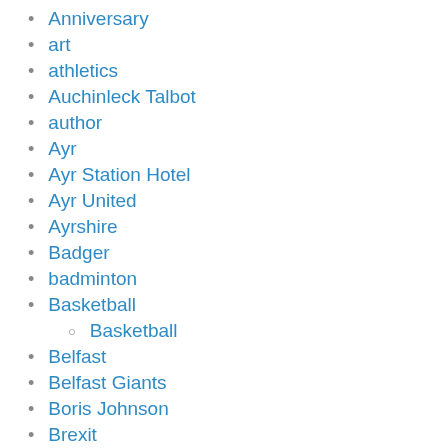Anniversary
art
athletics
Auchinleck Talbot
author
Ayr
Ayr Station Hotel
Ayr United
Ayrshire
Badger
badminton
Basketball
Basketball
Belfast
Belfast Giants
Boris Johnson
Brexit
buffon